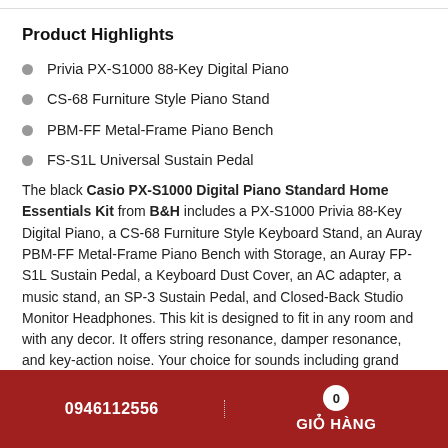Product Highlights
Privia PX-S1000 88-Key Digital Piano
CS-68 Furniture Style Piano Stand
PBM-FF Metal-Frame Piano Bench
FS-S1L Universal Sustain Pedal
The black Casio PX-S1000 Digital Piano Standard Home Essentials Kit from B&H includes a PX-S1000 Privia 88-Key Digital Piano, a CS-68 Furniture Style Keyboard Stand, an Auray PBM-FF Metal-Frame Piano Bench with Storage, an Auray FP-S1L Sustain Pedal, a Keyboard Dust Cover, an AC adapter, a music stand, an SP-3 Sustain Pedal, and Closed-Back Studio Monitor Headphones. This kit is designed to fit in any room and with any decor. It offers string resonance, damper resonance, and key-action noise. Your choice for sounds including grand
0946112556   0   GIỎ HÀNG